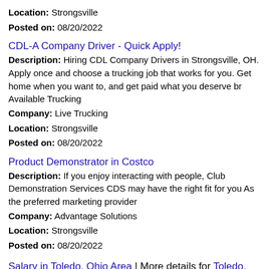Location: Strongsville
Posted on: 08/20/2022
CDL-A Company Driver - Quick Apply!
Description: Hiring CDL Company Drivers in Strongsville, OH. Apply once and choose a trucking job that works for you. Get home when you want to, and get paid what you deserve br Available Trucking
Company: Live Trucking
Location: Strongsville
Posted on: 08/20/2022
Product Demonstrator in Costco
Description: If you enjoy interacting with people, Club Demonstration Services CDS may have the right fit for you As the preferred marketing provider
Company: Advantage Solutions
Location: Strongsville
Posted on: 08/20/2022
Salary in Toledo, Ohio Area | More details for Toledo, Ohio Jobs |Salary
Registered Nurse - RN - Parma